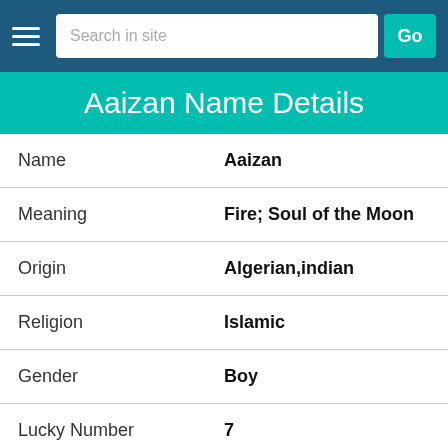Search in site  Go
Aaizan Name Details
| Field | Value |
| --- | --- |
| Name | Aaizan |
| Meaning | Fire; Soul of the Moon |
| Origin | Algerian,indian |
| Religion | Islamic |
| Gender | Boy |
| Lucky Number | 7 |